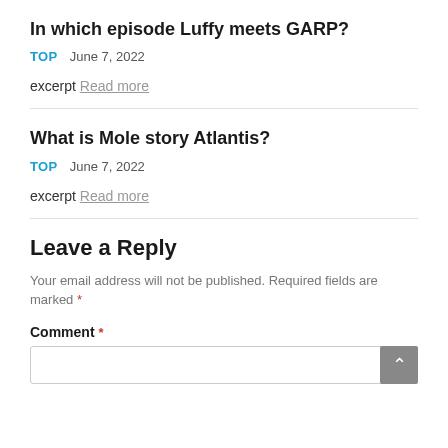In which episode Luffy meets GARP?
TOP   June 7, 2022
excerpt Read more
What is Mole story Atlantis?
TOP   June 7, 2022
excerpt Read more
Leave a Reply
Your email address will not be published. Required fields are marked *
Comment *